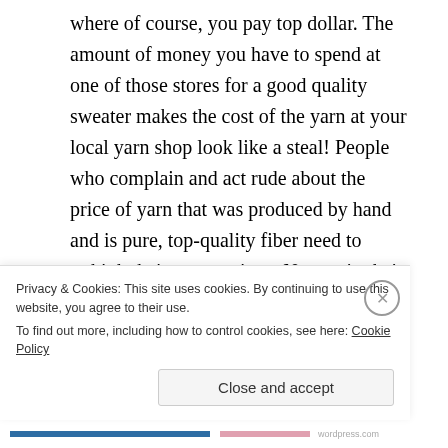where of course, you pay top dollar. The amount of money you have to spend at one of those stores for a good quality sweater makes the cost of the yarn at your local yarn shop look like a steal! People who complain and act rude about the price of yarn that was produced by hand and is pure, top-quality fiber need to rethink their expectations. No one in their right mind would expect to walk into Saks and buy a sweater for the same price they'd pay at Walmart.
5. And now, a note about customer service. I would be retiring on my own private island if I had a
Privacy & Cookies: This site uses cookies. By continuing to use this website, you agree to their use.
To find out more, including how to control cookies, see here: Cookie Policy
Close and accept